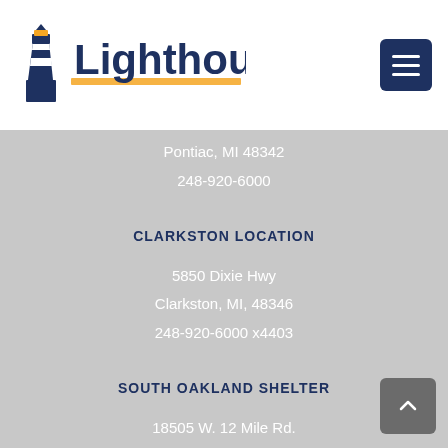[Figure (logo): Lighthouse organization logo with lighthouse icon and text 'Lighthouse' with yellow underline]
Pontiac, MI 48342
248-920-6000
CLARKSTON LOCATION
5850 Dixie Hwy
Clarkston, MI, 48346
248-920-6000 x4403
SOUTH OAKLAND SHELTER
18505 W. 12 Mile Rd.